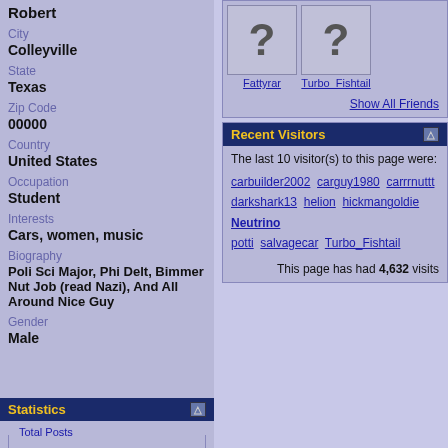Robert
City
Colleyville
State
Texas
Zip Code
00000
Country
United States
Occupation
Student
Interests
Cars, women, music
Biography
Poli Sci Major, Phi Delt, Bimmer Nut Job (read Nazi), And All Around Nice Guy
Gender
Male
[Figure (photo): Two friend profile images with question mark placeholders, labeled Fattyrar and Turbo_Fishtail]
Show All Friends
Recent Visitors
The last 10 visitor(s) to this page were:
carbuilder2002 carguy1980 carrrnuttt darkshark13 helion hickmangoldie Neutrino potti salvagecar Turbo_Fishtail
This page has had 4,632 visits
Statistics
Total Posts: 5,322